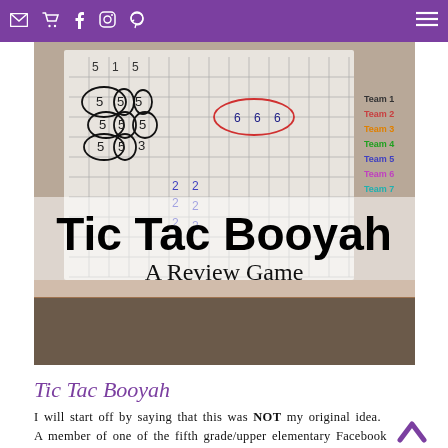Navigation bar with mail, cart, facebook, instagram, pinterest icons and hamburger menu
[Figure (photo): Classroom whiteboard showing a Tic Tac Booyah review game grid with numbers written in different colors, team list on the right side. Overlaid text reads 'Tic Tac Booyah - A Review Game']
Tic Tac Booyah
I will start off by saying that this was NOT my original idea. A member of one of the fifth grade/upper elementary Facebook groups I…